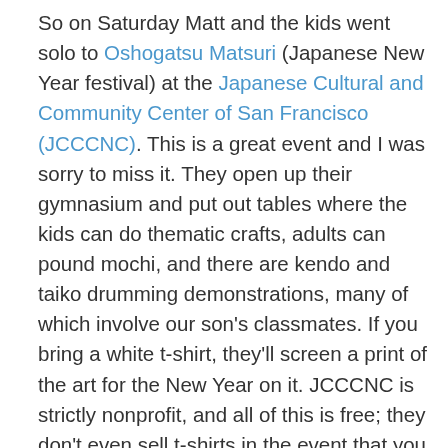So on Saturday Matt and the kids went solo to Oshogatsu Matsuri (Japanese New Year festival) at the Japanese Cultural and Community Center of San Francisco (JCCCNC). This is a great event and I was sorry to miss it. They open up their gymnasium and put out tables where the kids can do thematic crafts, adults can pound mochi, and there are kendo and taiko drumming demonstrations, many of which involve our son's classmates. If you bring a white t-shirt, they'll screen a print of the art for the New Year on it. JCCCNC is strictly nonprofit, and all of this is free; they don't even sell t-shirts in the event that you forget. We always forget and kick ourselves. In the Year of the Rabbit we were at least able to pull our son's shirt off his back (he was wearing a sweater, we didn't leave him naked) and get one. The logo for this year, the Year of the Dragon, which I have since seen on the schoolyard, was